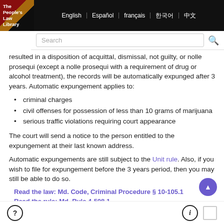The People's Law Library | English | Español | français | 한국어 | 中文
resulted in a disposition of acquittal, dismissal, not guilty, or nolle prosequi (except a nolle prosequi with a requirement of drug or alcohol treatment), the records will be automatically expunged after 3 years. Automatic expungement applies to:
criminal charges
civil offenses for possession of less than 10 grams of marijuana
serious traffic violations requiring court appearance
The court will send a notice to the person entitled to the expungement at their last known address.
Automatic expungements are still subject to the Unit rule. Also, if you wish to file for expungement before the 3 years period, then you may still be able to do so.
Read the law: Md. Code, Criminal Procedure § 10-105.1
Read the rule: Md. Rule 4-508.1
? | ℹ | □